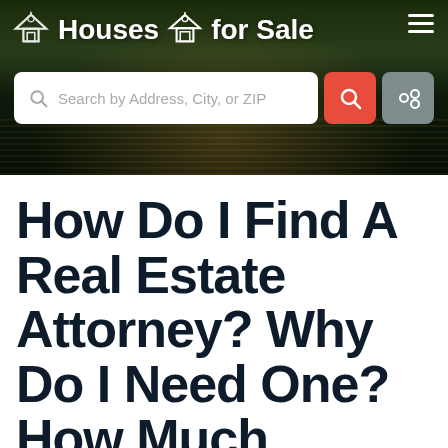[Figure (screenshot): Houses for Sale website header banner with dark forest/house background, site logo with house icons, search bar with address/city/ZIP placeholder, red search button, and gray settings button]
How Do I Find A Real Estate Attorney? Why Do I Need One? How Much Should He